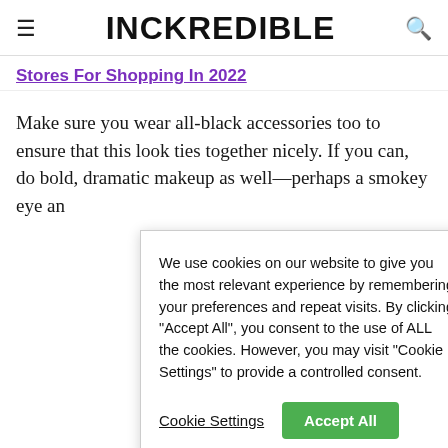INCKREDIBLE
Stores For Shopping In 2022
Make sure you wear all-black accessories too to ensure that this look ties together nicely. If you can, do bold, dramatic makeup as well—perhaps a smokey eye an
We use cookies on our website to give you the most relevant experience by remembering your preferences and repeat visits. By clicking "Accept All", you consent to the use of ALL the cookies. However, you may visit "Cookie Settings" to provide a controlled consent.

Cookie Settings   Accept All